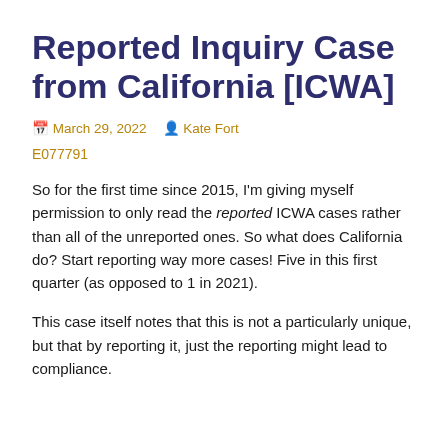Reported Inquiry Case from California [ICWA]
March 29, 2022   Kate Fort
E077791
So for the first time since 2015, I'm giving myself permission to only read the reported ICWA cases rather than all of the unreported ones. So what does California do? Start reporting way more cases! Five in this first quarter (as opposed to 1 in 2021).
This case itself notes that this is not a particularly unique, but that by reporting it, just the reporting might lead to compliance.